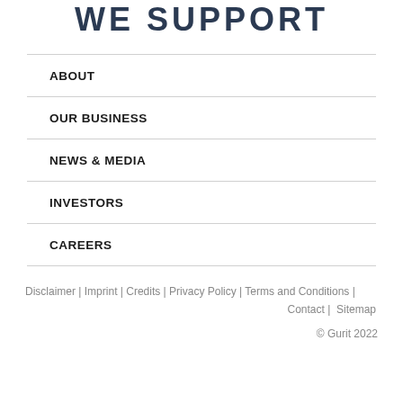WE SUPPORT
ABOUT
OUR BUSINESS
NEWS & MEDIA
INVESTORS
CAREERS
Disclaimer | Imprint | Credits | Privacy Policy | Terms and Conditions | Contact | Sitemap
© Gurit 2022